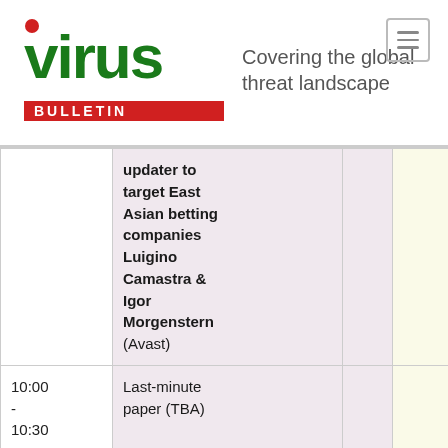Virus Bulletin — Covering the global threat landscape
| Time | Session |  |  |
| --- | --- | --- | --- |
|  | updater to target East Asian betting companies
Luigino Camastra & Igor Morgenstern (Avast) |  |  |
| 10:00 - 10:30 | Last-minute paper (TBA) |  |  |
| 10:30 | Tea/Coffee |  |  |